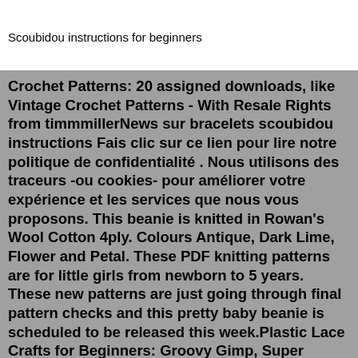Scoubidou instructions for beginners
Crochet Patterns: 20 assigned downloads, like Vintage Crochet Patterns - With Resale Rights from timmmillerNews sur bracelets scoubidou instructions Fais clic sur ce lien pour lire notre politique de confidentialité . Nous utilisons des traceurs -ou cookies- pour améliorer votre expérience et les services que nous vous proposons. This beanie is knitted in Rowan's Wool Cotton 4ply. Colours Antique, Dark Lime, Flower and Petal. These PDF knitting patterns are for little girls from newborn to 5 years. These new patterns are just going through final pattern checks and this pretty baby beanie is scheduled to be released this week.Plastic Lace Crafts for Beginners: Groovy Gimp, Super Scoubidou, and Beast Boondoggle (Design Originals) Master the Essential Techniques of Lacing 4-Strand & 6-Strand Key Chains, Bracelets, & More ... SHAN RUI 300pcs